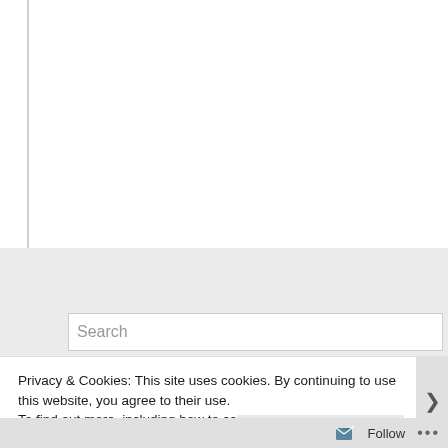[Figure (screenshot): White content area with a left vertical border line, representing a webpage content region]
[Figure (screenshot): Gray horizontal band below main content area, part of webpage sidebar]
[Figure (screenshot): Search input box with placeholder text 'Search']
Privacy & Cookies: This site uses cookies. By continuing to use this website, you agree to their use.
To find out more, including how to control cookies, see here: Cookie Policy
[Figure (screenshot): Close and accept button for cookie notice]
[Figure (screenshot): Follow button and three-dots menu at the bottom of the page]